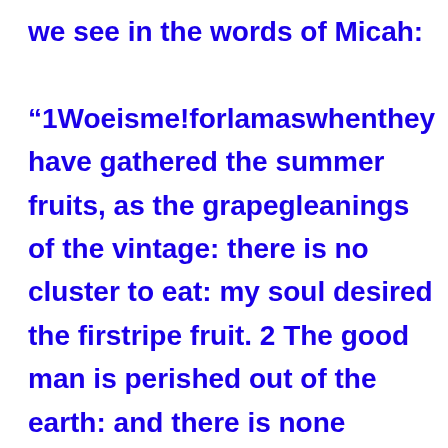we see in the words of Micah: “1Woeisme!forlamaswhenthey have gathered the summer fruits, as the grapegleanings of the vintage: there is no cluster to eat: my soul desired the firstripe fruit. 2 The good man is perished out of the earth: and there is none upright among men: they all lie in wait for blood; they hunt every man his brother with a